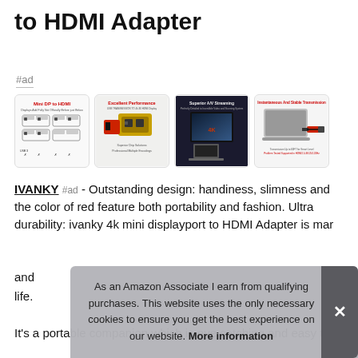to HDMI Adapter
#ad
[Figure (photo): Four product thumbnail images of IVANKY Mini DP to HDMI Adapter showing compatibility diagram, electronics internals, TV setup, and laptop connection]
IVANKY #ad - Outstanding design: handiness, slimness and the color of red feature both portability and fashion. Ultra durability: ivanky 4k mini displayport to HDMI Adapter is mar and life.
It's a portable companion which is eye catching and easy to
As an Amazon Associate I earn from qualifying purchases. This website uses the only necessary cookies to ensure you get the best experience on our website. More information